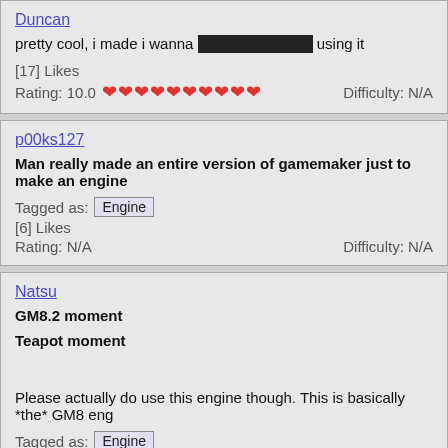Duncan
pretty cool, i made i wanna [REDACTED] using it
[17] Likes
Rating: 10.0 ❤❤❤❤❤❤❤❤❤❤  Difficulty: N/A
p00ks127
Man really made an entire version of gamemaker just to make an engine
Tagged as: Engine
[6] Likes
Rating: N/A   Difficulty: N/A
Natsu
GM8.2 moment
Teapot moment
Please actually do use this engine though. This is basically *the* GM8 eng
Tagged as: Engine
[6] Likes